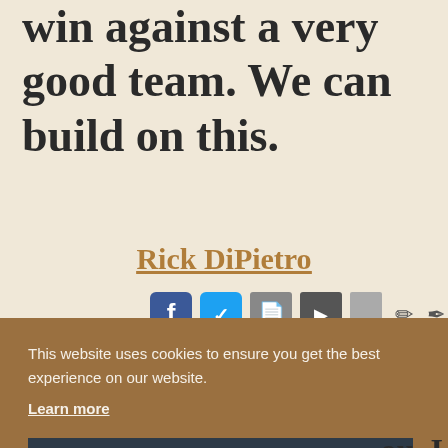win against a very good team. We can build on this.
Rick DiPietro
[Figure (screenshot): Row of social media and sharing icons: Facebook, Twitter, document, video, bookmark, edit, pen, flag icons]
This website uses cookies to ensure you get the best experience on our website.
Learn more
Got it!
he
ou. I
f
stressing the fact that this is...